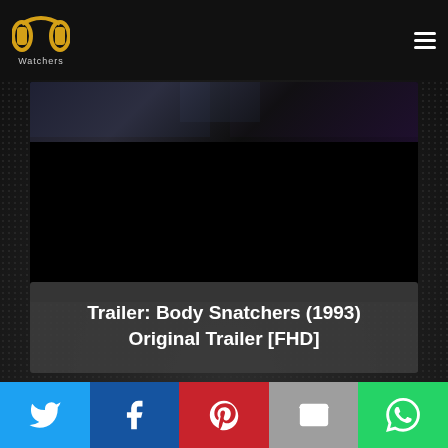PP Watchers
[Figure (screenshot): Dark video thumbnail with blue/purple lighting effects at top, mostly black]
Trailer: Body Snatchers (1993) Original Trailer [FHD]
[Figure (screenshot): Dark purple/maroon background strip]
[Figure (infographic): Social share bar with Twitter (blue), Facebook (dark blue), Pinterest (red), Email (grey), WhatsApp (green) buttons with icons]